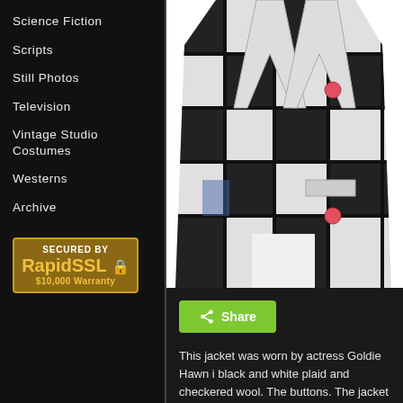Science Fiction
Scripts
Still Photos
Television
Vintage Studio Costumes
Westerns
Archive
[Figure (logo): RapidSSL Secured By badge with $10,000 Warranty]
[Figure (photo): A black and white plaid and checkered wool jacket with pink/red buttons displayed on a mannequin against a white background]
Share
This jacket was worn by actress Goldie Hawn i black and white plaid and checkered wool. The buttons. The jacket was custom made for the a misspelled name "Joldie" (sic) also att...